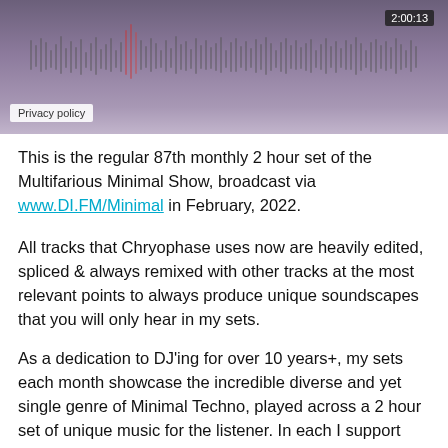[Figure (screenshot): Audio player waveform screenshot with purple/smoky background, timestamp 2:00:13 in top right, Privacy policy badge in bottom left]
This is the regular 87th monthly 2 hour set of the Multifarious Minimal Show, broadcast via www.DI.FM/Minimal in February, 2022.
All tracks that Chryophase uses now are heavily edited, spliced & always remixed with other tracks at the most relevant points to always produce unique soundscapes that you will only hear in my sets.
As a dedication to DJ'ing for over 10 years+, my sets each month showcase the incredible diverse and yet single genre of Minimal Techno, played across a 2 hour set of unique music for the listener. In each I support producers, both regular and many more first time played on my show, yet all very deserved internet airtime support for a lot of up and coming new artists / producers as I find them via various music platforms, but always ensure include a playlist to assist them to be located on my